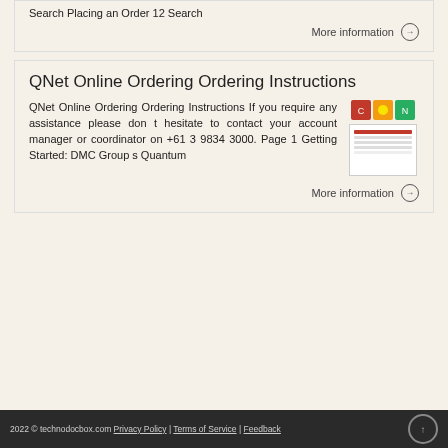Search Placing an Order 12 Search
More information
QNet Online Ordering Ordering Instructions
QNet Online Ordering Ordering Instructions If you require any assistance please don t hesitate to contact your account manager or coordinator on +61 3 9834 3000. Page 1 Getting Started: DMC Group s Quantum
[Figure (illustration): Thumbnail showing colored icons (red, yellow, green) and a document preview below]
More information
2022 © technodocbox.com Privacy Policy | Terms of Service | Feedback